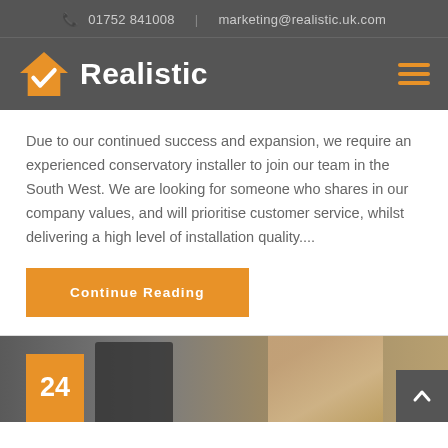📞 01752 841008  |  marketing@realistic.uk.com
[Figure (logo): Realistic company logo — orange house with white checkmark, white bold text 'Realistic']
Due to our continued success and expansion, we require an experienced conservatory installer to join our team in the South West. We are looking for someone who shares in our company values, and will prioritise customer service, whilst delivering a high level of installation quality....
Continue Reading
[Figure (photo): Partial view of people at a desk/office setting with orange number box showing '24' in bottom left corner]